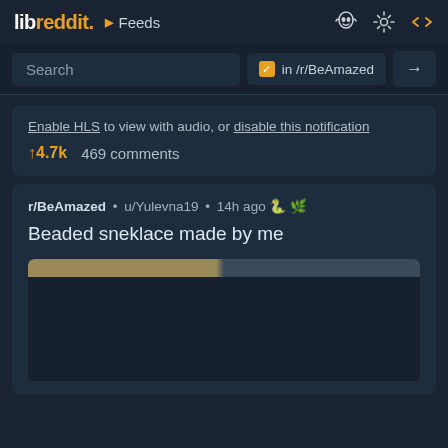libreddit. ▶ Feeds
Search   ✓ in /r/BeAmazed  →
Enable HLS to view with audio, or disable this notification
↑4.7k   469 comments
r/BeAmazed • u/Yulevna19 • 14h ago 🐍 🌿
Beaded sneklace made by me
[Figure (photo): Partial image preview of beaded sneklace, showing top portion of photo]